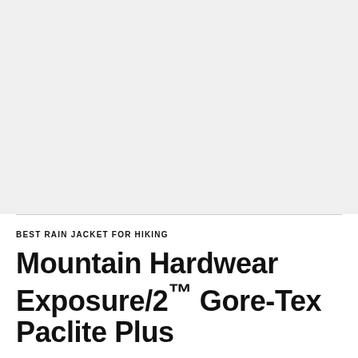[Figure (photo): Light gray placeholder image area for product photo]
BEST RAIN JACKET FOR HIKING
Mountain Hardwear Exposure/2™ Gore-Tex Paclite Plus